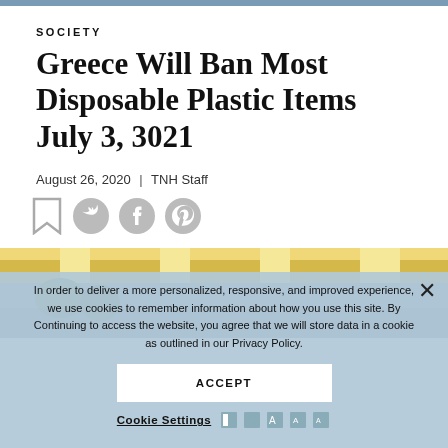SOCIETY
Greece Will Ban Most Disposable Plastic Items July 3, 3021
August 26, 2020 | TNH Staff
[Figure (illustration): Social sharing icons: bookmark, Twitter, Facebook, Pinterest]
[Figure (photo): Outdoor photo showing a striped tent canopy with trees and sky in background]
In order to deliver a more personalized, responsive, and improved experience, we use cookies to remember information about how you use this site. By Continuing to access the website, you agree that we will store data in a cookie as outlined in our Privacy Policy.
ACCEPT
Cookie Settings